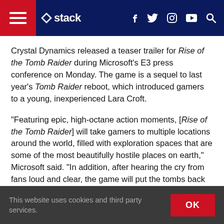Stack — navigation header with hamburger menu, logo, social icons (Facebook, Twitter, Instagram, YouTube), and search
Crystal Dynamics released a teaser trailer for Rise of the Tomb Raider during Microsoft's E3 press conference on Monday. The game is a sequel to last year's Tomb Raider reboot, which introduced gamers to a young, inexperienced Lara Croft.
“Featuring epic, high-octane action moments, [Rise of the Tomb Raider] will take gamers to multiple locations around the world, filled with exploration spaces that are some of the most beautifully hostile places on earth,” Microsoft said. “In addition, after hearing the cry from fans loud and clear, the game will put the tombs back into Tomb Raider, all in the franchise’s gritty survival-action style.”
This website uses cookies and third party services. OK